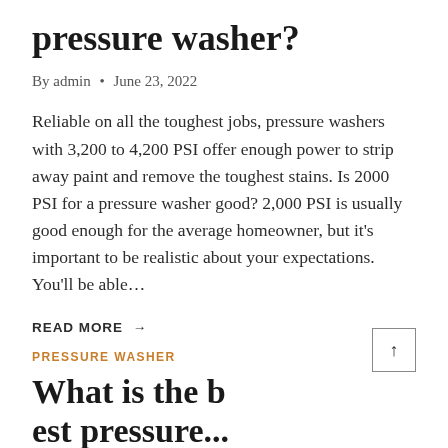pressure washer?
By admin • June 23, 2022
Reliable on all the toughest jobs, pressure washers with 3,200 to 4,200 PSI offer enough power to strip away paint and remove the toughest stains. Is 2000 PSI for a pressure washer good? 2,000 PSI is usually good enough for the average homeowner, but it's important to be realistic about your expectations. You'll be able...
READ MORE →
PRESSURE WASHER
What is the best pressure...